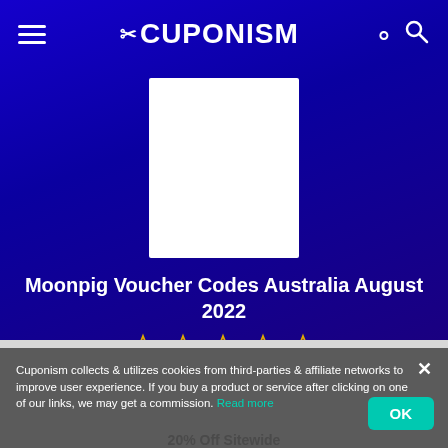CUPONISM
[Figure (logo): White rectangular placeholder box representing a merchant logo on a dark blue background]
Moonpig Voucher Codes Australia August 2022
[Figure (other): Five gold/yellow star rating icons (outline stars)]
Rated 0 from 0 votes
Cuponism collects & utilizes cookies from third-parties & affiliate networks to improve user experience. If you buy a product or service after clicking on one of our links, we may get a commission. Read more
20% Off Sitewide